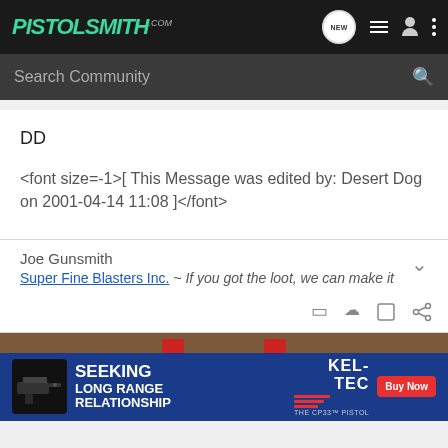PISTOLSMITH.com — navigation header with search bar
DD
<font size=-1>[ This Message was edited by: Desert Dog on 2001-04-14 11:08 ]</font>
Joe Gunsmith
Super Fine Blasters Inc. ~ If you got the loot, we can make it
[Figure (screenshot): Advertisement banner: Kel-Tec CP33 pistol — SEEKING LONG RANGE RELATIONSHIP, Buy Now button]